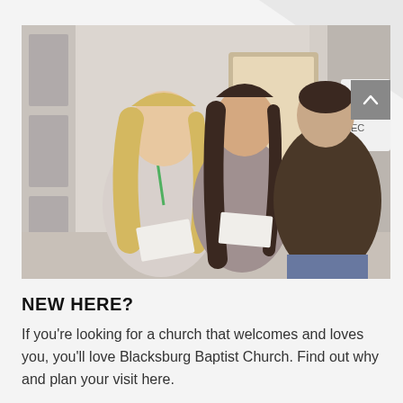[Figure (photo): Two women greeting a man at the entrance of a church foyer. The woman on the left has long blonde hair and wears a light grey cardigan with a green lanyard. The woman in the middle has long dark hair and wears a patterned grey top. The man on the right faces away from the camera wearing a dark brown jacket. A sign partially visible on the right edge shows 'K I' in red and blue letters.]
NEW HERE?
If you're looking for a church that welcomes and loves you, you'll love Blacksburg Baptist Church. Find out why and plan your visit here.